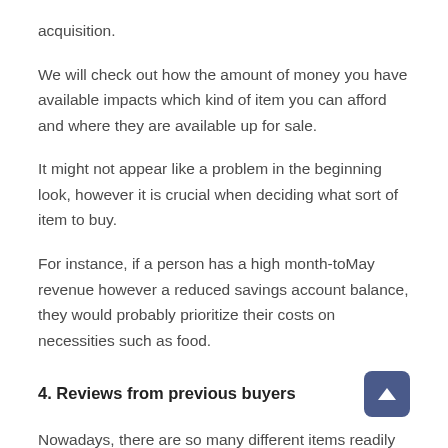acquisition.
We will check out how the amount of money you have available impacts which kind of item you can afford and where they are available up for sale.
It might not appear like a problem in the beginning look, however it is crucial when deciding what sort of item to buy.
For instance, if a person has a high month-toMay revenue however a reduced savings account balance, they would probably prioritize their costs on necessities such as food.
4. Reviews from previous buyers
Nowadays, there are so many different items readily